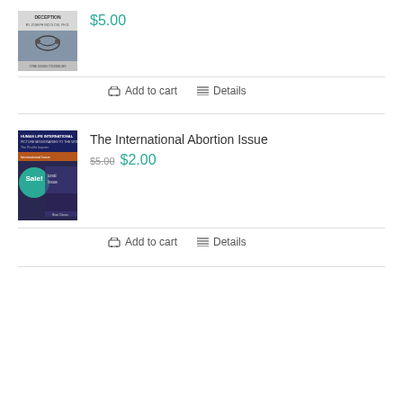[Figure (photo): Book cover showing 'Deception' by Joseph Nicholosi Ph.D. with a mask image on a grey background]
$5.00
Add to cart   Details
[Figure (photo): Book cover for 'The International Abortion Issue' published by Human Life International, with a Sale! badge in teal]
The International Abortion Issue
$5.00  $2.00
Add to cart   Details